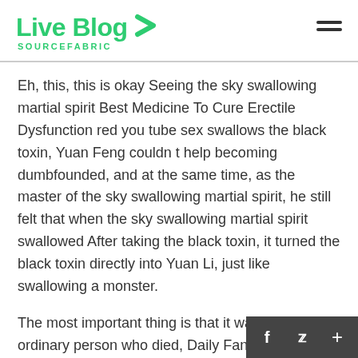Live Blog SOURCEFABRIC
Eh, this, this is okay Seeing the sky swallowing martial spirit Best Medicine To Cure Erectile Dysfunction red you tube sex swallows the black toxin, Yuan Feng couldn t help becoming dumbfounded, and at the same time, as the master of the sky swallowing martial spirit, he still felt that when the sky swallowing martial spirit swallowed After taking the black toxin, it turned the black toxin directly into Yuan Li, just like swallowing a monster.
The most important thing is that it was not an ordinary person who died, Daily Fantasy Sports buy best male enhancement no scsm but a disciple of the Boshui Sect, a direct descendant of the buy best male enhancement no scsm Zhao family in Beijing.